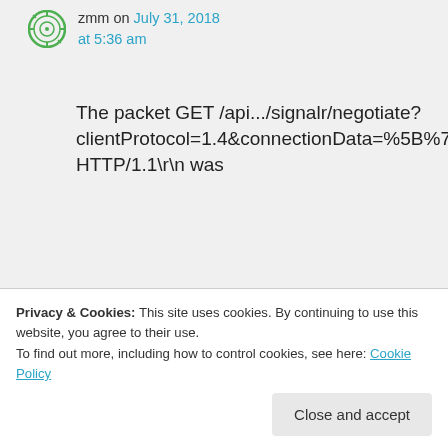zmm on July 31, 2018 at 5:36 am
The packet GET /api.../signalr/negotiate?clientProtocol=1.4&connectionData=%5B%7B%22Name%22:%22*****%22%7D%5D HTTP/1.1\r\n was
Privacy & Cookies: This site uses cookies. By continuing to use this website, you agree to their use.
To find out more, including how to control cookies, see here: Cookie Policy
Close and accept